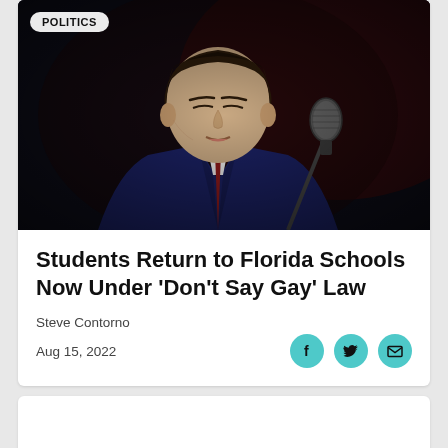[Figure (photo): A man in a dark navy suit with a red tie speaking at a microphone in a dark setting. A 'POLITICS' badge is overlaid in the top-left corner of the photo.]
Students Return to Florida Schools Now Under 'Don't Say Gay' Law
Steve Contorno
Aug 15, 2022